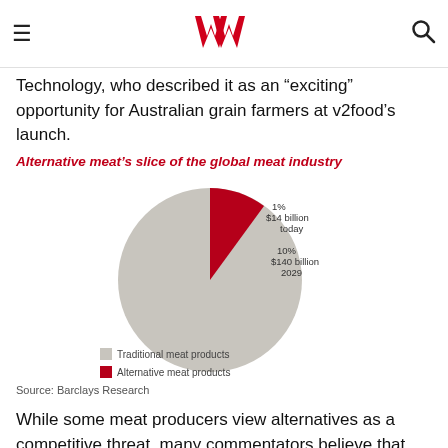Westpac logo, navigation menu and search
Karen Andrews, minister for Industry, Science and Technology, who described it as an “exciting” opportunity for Australian grain farmers at v2food’s launch.
[Figure (pie-chart): Alternative meat’s slice of the global meat industry]
Source: Barclays Research
While some meat producers view alternatives as a competitive threat, many commentators believe that